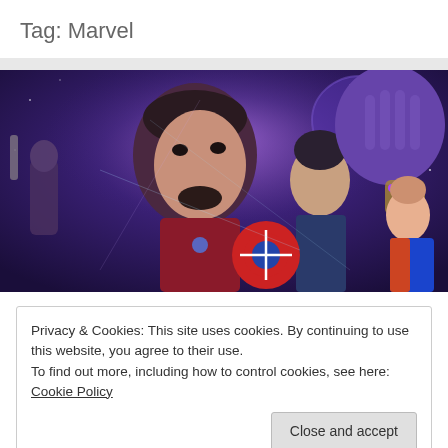Tag: Marvel
[Figure (photo): Avengers: Endgame movie poster showing Iron Man, Captain America, Thanos, Captain Marvel, Thor, and other Marvel heroes against a purple cosmic background]
Privacy & Cookies: This site uses cookies. By continuing to use this website, you agree to their use.
To find out more, including how to control cookies, see here: Cookie Policy
Close and accept